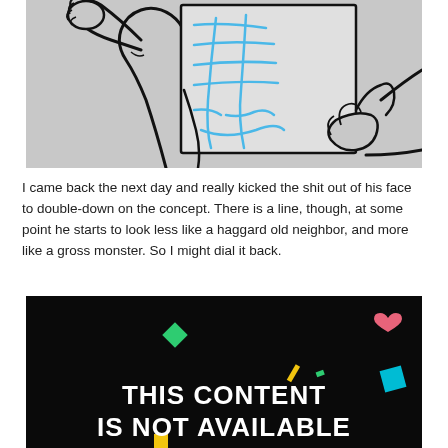[Figure (illustration): Line drawing on grey background of a person holding up a large paper/document with blue marker lines drawn on it, forming a rough sketch. The figure uses both hands, one raised fist and one gripping the paper at their torso.]
I came back the next day and really kicked the shit out of his face to double-down on the concept. There is a line, though, at some point he starts to look less like a haggard old neighbor, and more like a gross monster. So I might dial it back.
[Figure (screenshot): Black background image with colorful confetti shapes (green diamond, pink heart, cyan square, yellow pieces, small green pieces) and bold white text reading 'THIS CONTENT IS NOT AVAILABLE'. A yellow square is visible at the bottom.]